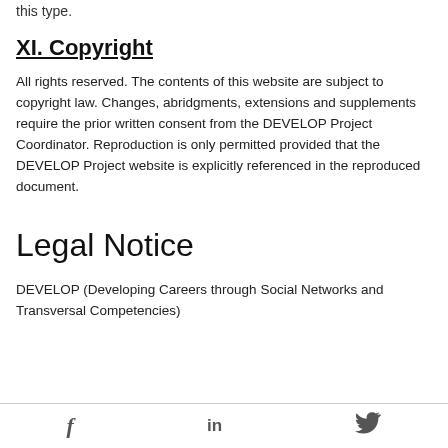this type.
XI. Copyright
All rights reserved. The contents of this website are subject to copyright law. Changes, abridgments, extensions and supplements require the prior written consent from the DEVELOP Project Coordinator. Reproduction is only permitted provided that the DEVELOP Project website is explicitly referenced in the reproduced document.
Legal Notice
DEVELOP (Developing Careers through Social Networks and Transversal Competencies)
f  in  🐦